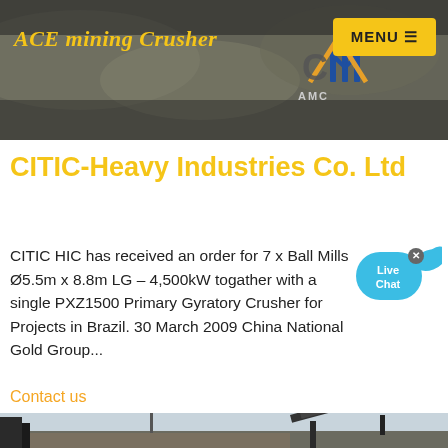ACE mining Crusher | MENU
CITIC-Heavy Industries Co. Ltd
CITIC HIC has received an order for 7 x Ball Mills Ø5.5m x 8.8m LG – 4,500kW togather with a single PXZ1500 Primary Gyratory Crusher for Projects in Brazil. 30 March 2009 China National Gold Group...
Contact us
[Figure (photo): Industrial mining equipment and conveyor belt at an outdoor facility]